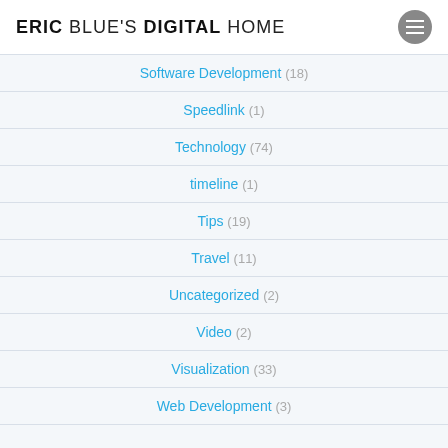ERIC BLUE'S DIGITAL HOME
Software Development (18)
Speedlink (1)
Technology (74)
timeline (1)
Tips (19)
Travel (11)
Uncategorized (2)
Video (2)
Visualization (33)
Web Development (3)